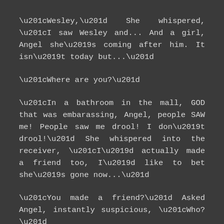“Wesley,” She whispered, “I saw Wesley and... And a girl, Angel she’s coming after him. It isn’t today but...”
“Where are you?”
“In a bathroom in the mall, GOD that was embarassing, Angel, people SAW me! People saw me drool! I don’t drool!” She whispered into the receiver, “I’d actually made a friend too, I’d like to bet she’s gone now...”
“You made a friend?” Asked Angel, instantly suspicious, “Who?”
“A girl... Called Kelsi, she was nice. Angel, stop being so melodramatic, not everything’s all darkness and back-stabby, y’know.” She frowned, God he was so